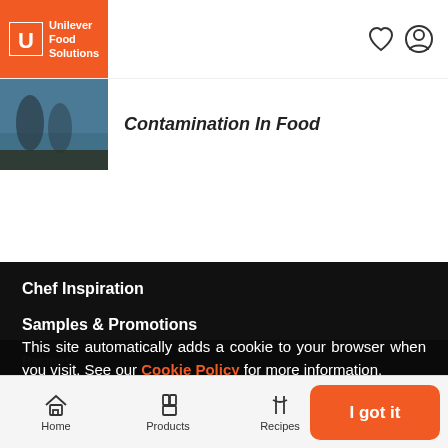[Figure (logo): Unilever Food Solutions logo — orange box with white U and text]
Contamination In Food
Chef Inspiration
Samples & Promotions
Recipes
Products
Training & Academy
This site automatically adds a cookie to your browser when you visit. See our Cookie Policy for more information.
Home
Products
Recipes
I got it